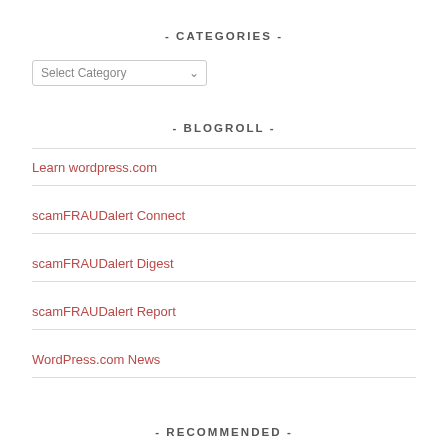- CATEGORIES -
[Figure (screenshot): Select Category dropdown input box]
- BLOGROLL -
Learn wordpress.com
scamFRAUDalert Connect
scamFRAUDalert Digest
scamFRAUDalert Report
WordPress.com News
- RECOMMENDED -